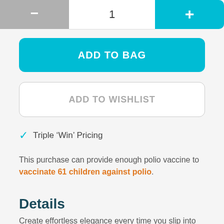[Figure (other): Quantity stepper UI control with minus button on left (grey), number input in center showing 1, and plus button on right (blue/cyan)]
[Figure (other): ADD TO BAG button - large cyan/blue rounded rectangle button with white bold text]
[Figure (other): ADD TO WISHLIST button - large white rounded rectangle button with light grey border and grey text]
Triple 'Win' Pricing
This purchase can provide enough polio vaccine to vaccinate 61 children against polio.
Details
Create effortless elegance every time you slip into these